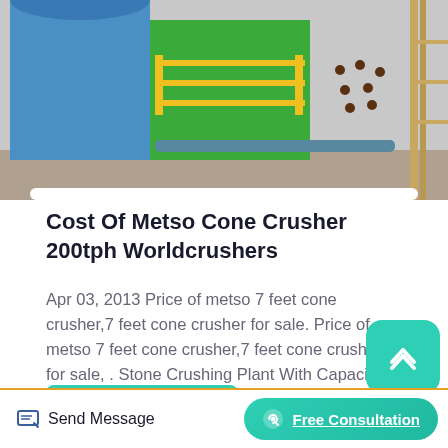[Figure (photo): Industrial mining/crushing equipment including a ball mill and cone crusher in a factory setting, showing blue cylindrical tank, green structure, yellow safety railings, and large rotating drum.]
Cost Of Metso Cone Crusher 200tph Worldcrushers
Apr 03, 2013 Price of metso 7 feet cone crusher,7 feet cone crusher for sale. Price of metso 7 feet cone crusher,7 feet cone crusher for sale, . Stone Crushing Plant With Capacity 200-250 TPH Stone Crushing Plant With Capacity 300-350 TPH.
Read More
Send Message
Free Consultation